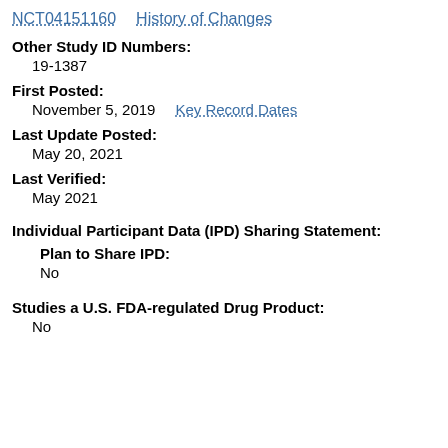NCT04151160    History of Changes
Other Study ID Numbers:
19-1387
First Posted:
November 5, 2019    Key Record Dates
Last Update Posted:
May 20, 2021
Last Verified:
May 2021
Individual Participant Data (IPD) Sharing Statement:
Plan to Share IPD:
No
Studies a U.S. FDA-regulated Drug Product:
No